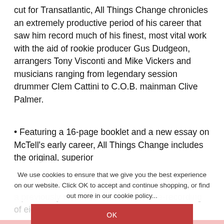cut for Transatlantic, All Things Change chronicles an extremely productive period of his career that saw him record much of his finest, most vital work with the aid of rookie producer Gus Dudgeon, arrangers Tony Visconti and Mike Vickers and musicians ranging from legendary session drummer Clem Cattini to C.O.B. mainman Clive Palmer.
• Featuring a 16-page booklet and a new essay on McTell's early career, All Things Change includes the original, superior version of the timeless classic 'Streets Of London' a previously unissued orchestral's a re-recording of eight...
We use cookies to ensure that we give you the best experience on our website. Click OK to accept and continue shopping, or find out more in our cookie policy...
You cannot add "It Suits Me Well: The ... to the cart because the product is out